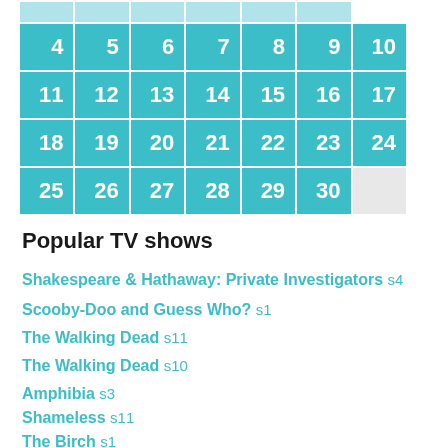| 4 | 5 | 6 | 7 | 8 | 9 | 10 |
| 11 | 12 | 13 | 14 | 15 | 16 | 17 |
| 18 | 19 | 20 | 21 | 22 | 23 | 24 |
| 25 | 26 | 27 | 28 | 29 | 30 |  |
Popular TV shows
Shakespeare & Hathaway: Private Investigators s4
Scooby-Doo and Guess Who? s1
The Walking Dead s11
The Walking Dead s10
Amphibia s3
Shameless s11
The Birch s1